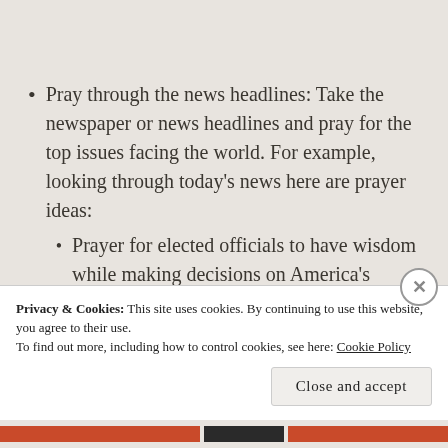Pray through the news headlines: Take the newspaper or news headlines and pray for the top issues facing the world. For example, looking through today’s news here are prayer ideas:
Prayer for elected officials to have wisdom while making decisions on America’s healthcare. Prayers for our elected officials to seek God’s
Privacy & Cookies: This site uses cookies. By continuing to use this website, you agree to their use. To find out more, including how to control cookies, see here: Cookie Policy
Close and accept